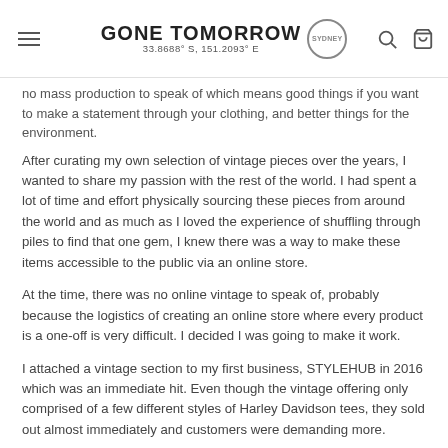GONE TOMORROW | 33.8688° S, 151.2093° E | SYDNEY
no mass production to speak of which means good things if you want to make a statement through your clothing, and better things for the environment.
After curating my own selection of vintage pieces over the years, I wanted to share my passion with the rest of the world. I had spent a lot of time and effort physically sourcing these pieces from around the world and as much as I loved the experience of shuffling through piles to find that one gem, I knew there was a way to make these items accessible to the public via an online store.
At the time, there was no online vintage to speak of, probably because the logistics of creating an online store where every product is a one-off is very difficult. I decided I was going to make it work.
I attached a vintage section to my first business, STYLEHUB in 2016 which was an immediate hit. Even though the vintage offering only comprised of a few different styles of Harley Davidson tees, they sold out almost immediately and customers were demanding more.
From there, I set off to the USA and Europe to find suppliers so I could grow this beast. Before I knew it, I was knees deep in warehouses full of vintage stock. It was like I was 14 again, but on a MUCH larger scale.